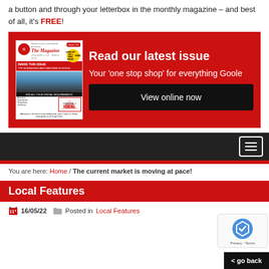a button and through your letterbox in the monthly magazine – and best of all, it's FREE!
[Figure (infographic): Red banner with magazine cover image on the left and text on the right reading 'Read our latest issue – Your one stop shop for everything Goole' with a dark 'View online now' button]
[Figure (screenshot): Dark navigation bar with hamburger menu icon on the right, followed by a red bar]
You are here: Home / The current market is moving at pace!
Local Features
16/05/22   Posted in Local Features